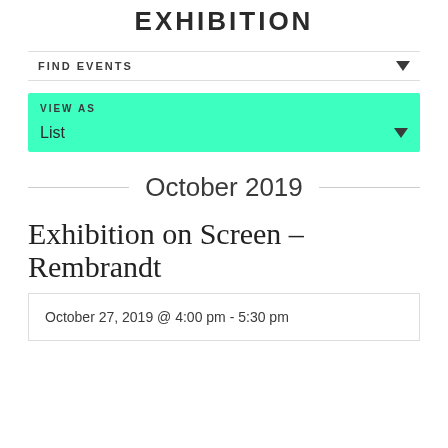EXHIBITION
FIND EVENTS
VIEW AS
List
October 2019
Exhibition on Screen – Rembrandt
October 27, 2019 @ 4:00 pm - 5:30 pm